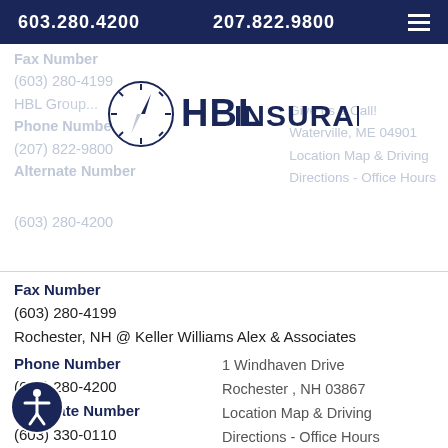603.280.4200   207.822.9800
[Figure (logo): HBL Insurance compass logo with text HBL INSURANCE]
Fax Number
(603) 280-4199
HBL Group...
Give us a Call!
Waterville, ME 04901
Location Map & Driving Directions - Office Hours
Phone Number
(207) 822-9800
Alternate Number
(603) 280-4200
Fax Number
(603) 280-4199
Rochester, NH @ Keller Williams Alex & Associates
Phone Number
(603) 280-4200
Alternate Number
(603) 330-0110
Fax Number
(603) 280-4199
1 Windhaven Drive
Rochester , NH 03867
Location Map & Driving Directions - Office Hours